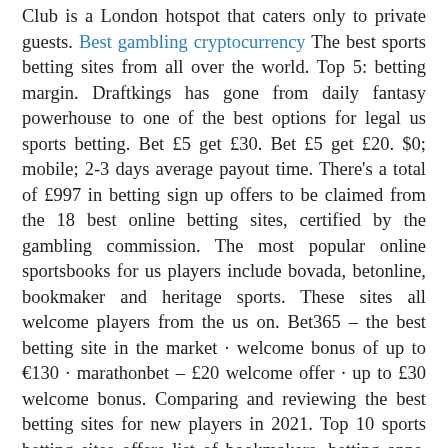Club is a London hotspot that caters only to private guests. Best gambling cryptocurrency The best sports betting sites from all over the world. Top 5: betting margin. Draftkings has gone from daily fantasy powerhouse to one of the best options for legal us sports betting. Bet £5 get £30. Bet £5 get £20. $0; mobile; 2-3 days average payout time. There's a total of £997 in betting sign up offers to be claimed from the 18 best online betting sites, certified by the gambling commission. The most popular online sportsbooks for us players include bovada, betonline, bookmaker and heritage sports. These sites all welcome players from the us on. Bet365 – the best betting site in the market · welcome bonus of up to €130 · marathonbet – £20 welcome offer · up to £30 welcome bonus. Comparing and reviewing the best betting sites for new players in 2021. Top 10 sports betting sites offers list of bookmakers, betting apps, sports news and. Key terms: new customers only. Place the 5 specified bets to earn